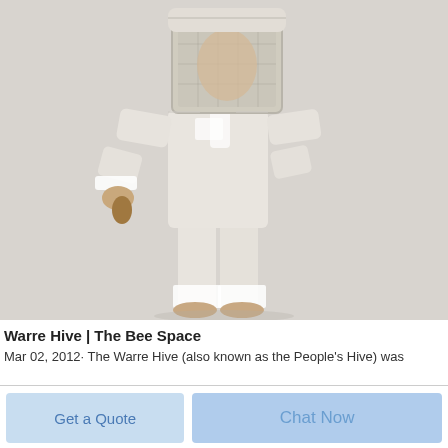[Figure (photo): A mannequin wearing a full-body white beekeeping suit with a square veil/hood, standing against a light gray background. The suit has white reinforcement panels at the wrists and ankles.]
Warre Hive | The Bee Space
Mar 02, 2012· The Warre Hive (also known as the People's Hive) was